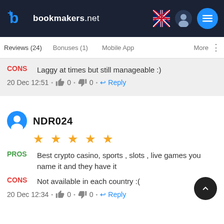bookmakers.net
Reviews (24)   Bonuses (1)   Mobile App   More
CONS  Laggy at times but still manageable :)
20 Dec 12:51  •  👍 0  •  👎 0  •  Reply
NDR024
★★★★★
PROS  Best crypto casino, sports , slots , live games you name it and they have it
CONS  Not available in each country :(
20 Dec 12:34  •  👍 0  •  👎 0  •  Reply